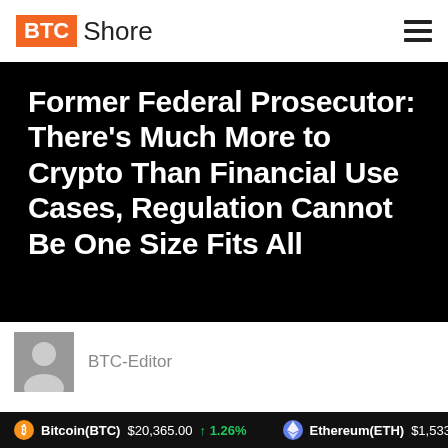BTC Shore
Former Federal Prosecutor: There's Much More to Crypto Than Financial Use Cases, Regulation Cannot Be One Size Fits All
BTC-Editor
Bitcoin(BTC) $20,365.00 ↑ 1.26% Ethereum(ETH) $1,533.07